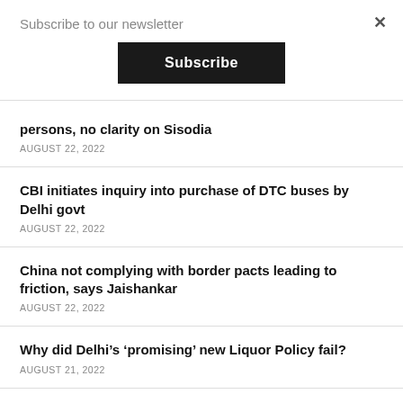Subscribe to our newsletter
Subscribe
persons, no clarity on Sisodia
AUGUST 22, 2022
CBI initiates inquiry into purchase of DTC buses by Delhi govt
AUGUST 22, 2022
China not complying with border pacts leading to friction, says Jaishankar
AUGUST 22, 2022
Why did Delhi's ‘promising’ new Liquor Policy fail?
AUGUST 21, 2022